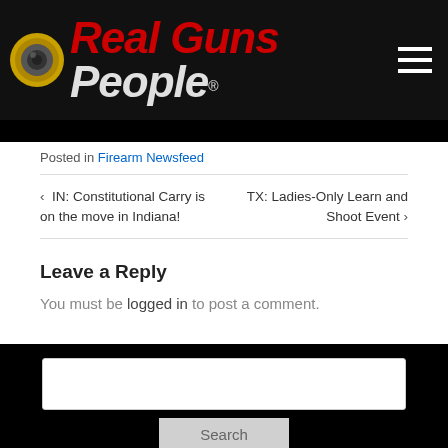[Figure (logo): Real Guns People website logo with bullet icon, red italic 'Real Guns' text and white italic 'People' text on dark background]
Posted in Firearm Newsfeed
< IN: Constitutional Carry is on the move in Indiana!   TX: Ladies-Only Learn and Shoot Event >
Leave a Reply
You must be logged in to post a comment.
Search
Recent Comments